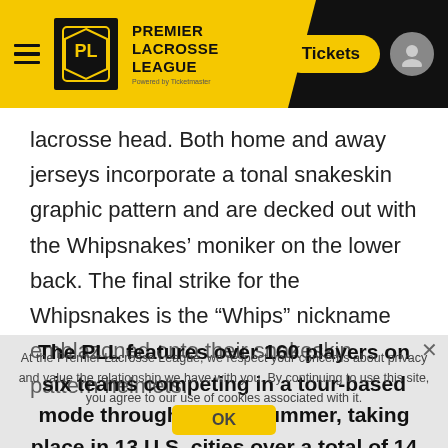Premier Lacrosse League — Tickets
lacrosse head. Both home and away jerseys incorporate a tonal snakeskin graphic pattern and are decked out with the Whipsnakes' moniker on the lower back. The final strike for the Whipsnakes is the "Whips" nickname emblazoned onto their snakeskin pattern helmets.
The PLL features over 160 players on six teams competing in a tour-based mode throughout the summer, taking place in 13 U.S. cities over a total of 14 weeks starting June 1, 2019. NBC Sports will present 16
At the Premier Lacrosse League, we respect your concerns about privacy and value the relationship we have with you. By continuing to use this site, you agree to our use of cookies associated with it.
OK